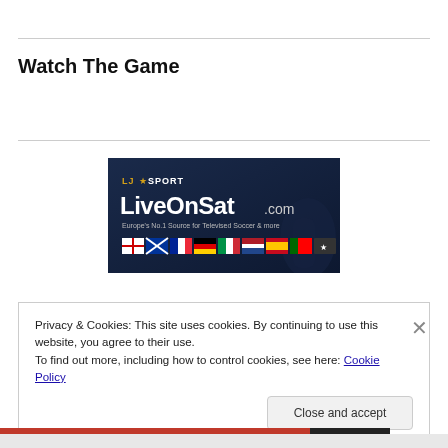Watch The Game
[Figure (illustration): LiveOnSat.com banner ad — LJ★ SPORT LiveOnSat.com, Europe's No.1 Source for Televised Soccer & more, with country flags at the bottom]
Privacy & Cookies: This site uses cookies. By continuing to use this website, you agree to their use.
To find out more, including how to control cookies, see here: Cookie Policy
Close and accept